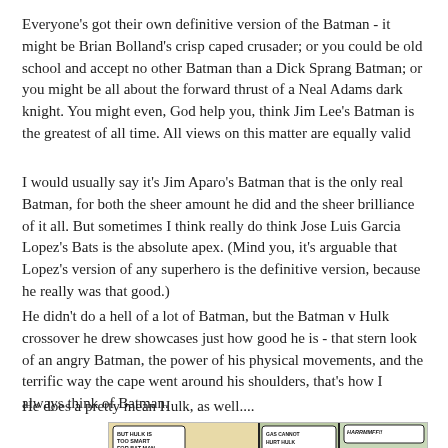Everyone's got their own definitive version of the Batman - it might be Brian Bolland's crisp caped crusader; or you could be old school and accept no other Batman than a Dick Sprang Batman; or you might be all about the forward thrust of a Neal Adams dark knight. You might even, God help you, think Jim Lee's Batman is the greatest of all time. All views on this matter are equally valid
I would usually say it's Jim Aparo's Batman that is the only real Batman, for both the sheer amount he did and the sheer brilliance of it all. But sometimes I think really do think Jose Luis Garcia Lopez's Bats is the absolute apex. (Mind you, it's arguable that Lopez's version of any superhero is the definitive version, because he really was that good.)
He didn't do a hell of a lot of Batman, but the Batman v Hulk crossover he drew showcases just how good he is - that stern look of an angry Batman, the power of his physical movements, and the terrific way the cape went around his shoulders, that's how I always think of Batman.
He does a pretty mean Hulk, as well....
[Figure (illustration): Comic book panels showing Hulk and Batman characters with speech bubbles. Left panel shows Hulk in green with speech bubble reading 'BUT HULK IS TOO SMART FOR BAT-MAN', middle panel shows another speech bubble reading 'GAS CANNOT HURT HULK IF HULK DOES NOT BREATHE IT!', right panel shows characters with a speech bubble reading 'HARRMMFF!!']